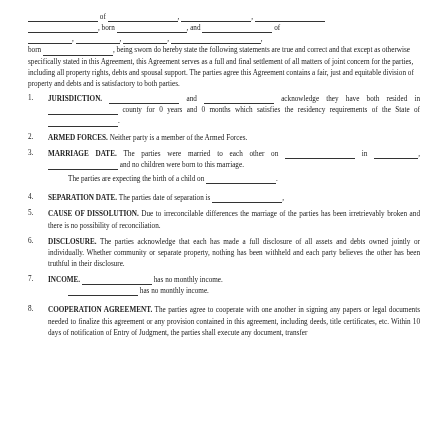___ of ___, ___, ___, ___, born ___, and ___ of ___, ___, born ___, being sworn do hereby state the following statements are true and correct and that except as otherwise specifically stated in this Agreement, this Agreement serves as a full and final settlement of all matters of joint concern for the parties, including all property rights, debts and spousal support. The parties agree this Agreement contains a fair, just and equitable division of property and debts and is satisfactory to both parties.
1. JURISDICTION. ___ and ___ acknowledge they have both resided in ___ county for 0 years and 0 months which satisfies the residency requirements of the State of ___.
2. ARMED FORCES. Neither party is a member of the Armed Forces.
3. MARRIAGE DATE. The parties were married to each other on ___ in ___, ___ and no children were born to this marriage.
The parties are expecting the birth of a child on ___.
4. SEPARATION DATE. The parties date of separation is ___.
5. CAUSE OF DISSOLUTION. Due to irreconcilable differences the marriage of the parties has been irretrievably broken and there is no possibility of reconciliation.
6. DISCLOSURE. The parties acknowledge that each has made a full disclosure of all assets and debts owned jointly or individually. Whether community or separate property, nothing has been withheld and each party believes the other has been truthful in their disclosure.
7. INCOME. ___ has no monthly income. ___ has no monthly income.
8. COOPERATION AGREEMENT. The parties agree to cooperate with one another in signing any papers or legal documents needed to finalize this agreement or any provision contained in this agreement, including deeds, title certificates, etc. Within 10 days of notification of Entry of Judgment, the parties shall execute any document, transfer...